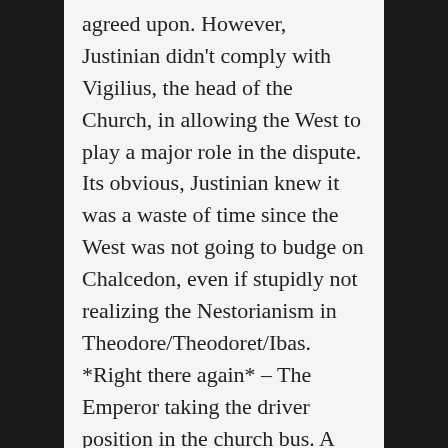agreed upon. However, Justinian didn't comply with Vigilius, the head of the Church, in allowing the West to play a major role in the dispute. Its obvious, Justinian knew it was a waste of time since the West was not going to budge on Chalcedon, even if stupidly not realizing the Nestorianism in Theodore/Theodoret/Ibas. *Right there again* – The Emperor taking the driver position in the church bus. A big no no. But Vigilius has little to choose from, right? I mean,